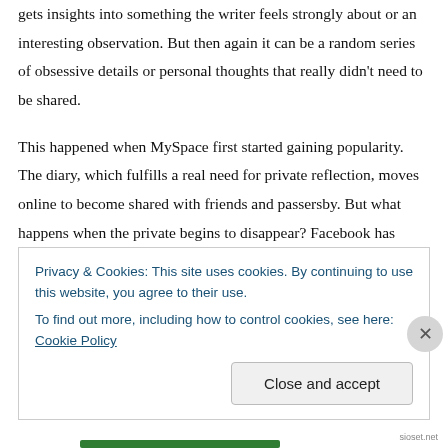gets insights into something the writer feels strongly about or an interesting observation. But then again it can be a random series of obsessive details or personal thoughts that really didn't need to be shared.
This happened when MySpace first started gaining popularity. The diary, which fulfills a real need for private reflection, moves online to become shared with friends and passersby. But what happens when the private begins to disappear? Facebook has really refined this. Now we are swamped in the rather superficial lives of our friends. Mark Zuckerberg has gone on record as having a real antipathy towards privacy on many occasions. And while Facebook is quite (too?) useful, it has also
Privacy & Cookies: This site uses cookies. By continuing to use this website, you agree to their use.
To find out more, including how to control cookies, see here: Cookie Policy
Close and accept